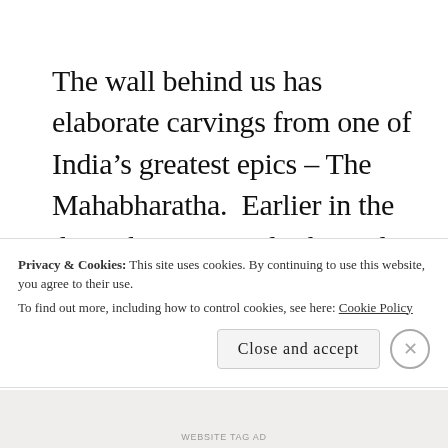The wall behind us has elaborate carvings from one of India's greatest epics – The Mahabharatha.  Earlier in the day, when our guide showed us these panels, we were awestruck!  Awestruck by the fact that the stories we grew up reading, had been so
Privacy & Cookies: This site uses cookies. By continuing to use this website, you agree to their use.
To find out more, including how to control cookies, see here: Cookie Policy
WEBSITE TAG AD